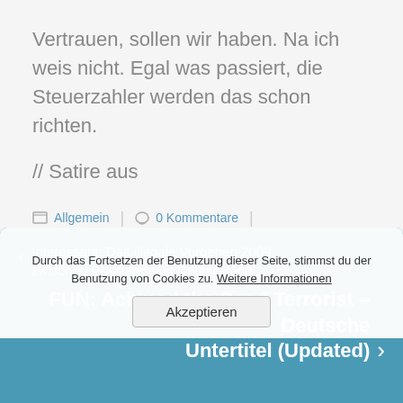Vertrauen, sollen wir haben. Na ich weis nicht. Egal was passiert, die Steuerzahler werden das schon richten.
// Satire aus
Allgemein | 0 Kommentare | politik, satire | Markus Rath
Durch das Fortsetzen der Benutzung dieser Seite, stimmst du der Benutzung von Cookies zu. Weitere Informationen
Akzeptieren
Interessant: Das illegale Vorgehen 2009 zwischen Russland und Deutschland
FUN: Achmed the Dead Terrorist – Deutsche Untertitel (Updated)